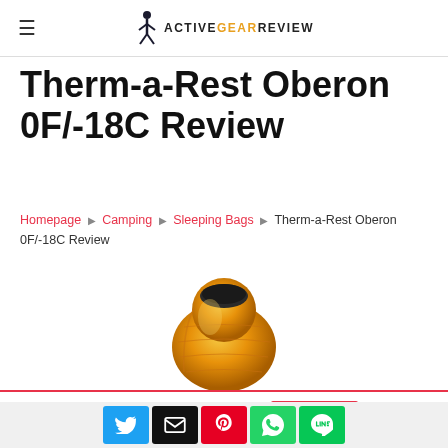ActiveGearReview logo with hamburger menu
Therm-a-Rest Oberon 0F/-18C Review
Homepage › Camping › Sleeping Bags › Therm-a-Rest Oberon 0F/-18C Review
[Figure (photo): Orange mummy sleeping bag (Therm-a-Rest Oberon) shown upright from above, closed at the top]
This website uses cookies. Accept
[Figure (infographic): Social share buttons: Twitter (blue), Email (black), Pinterest (red), WhatsApp (green), LINE (green)]